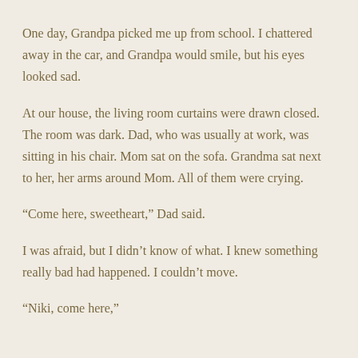One day, Grandpa picked me up from school. I chattered away in the car, and Grandpa would smile, but his eyes looked sad.
At our house, the living room curtains were drawn closed. The room was dark. Dad, who was usually at work, was sitting in his chair. Mom sat on the sofa. Grandma sat next to her, her arms around Mom. All of them were crying.
“Come here, sweetheart,” Dad said.
I was afraid, but I didn’t know of what. I knew something really bad had happened. I couldn’t move.
“Niki, come here,”